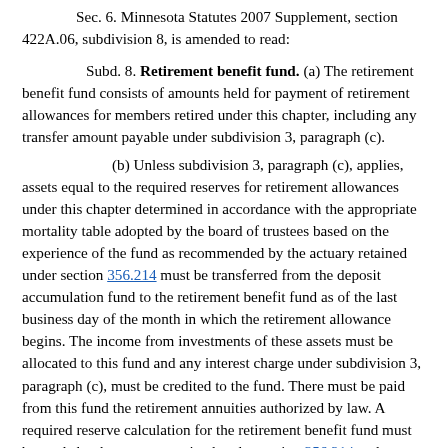Sec. 6. Minnesota Statutes 2007 Supplement, section 422A.06, subdivision 8, is amended to read:
Subd. 8. Retirement benefit fund. (a) The retirement benefit fund consists of amounts held for payment of retirement allowances for members retired under this chapter, including any transfer amount payable under subdivision 3, paragraph (c).
(b) Unless subdivision 3, paragraph (c), applies, assets equal to the required reserves for retirement allowances under this chapter determined in accordance with the appropriate mortality table adopted by the board of trustees based on the experience of the fund as recommended by the actuary retained under section 356.214 must be transferred from the deposit accumulation fund to the retirement benefit fund as of the last business day of the month in which the retirement allowance begins. The income from investments of these assets must be allocated to this fund and any interest charge under subdivision 3, paragraph (c), must be credited to the fund. There must be paid from this fund the retirement annuities authorized by law. A required reserve calculation for the retirement benefit fund must be made by the actuary retained under section 356.214 and must be certified to the